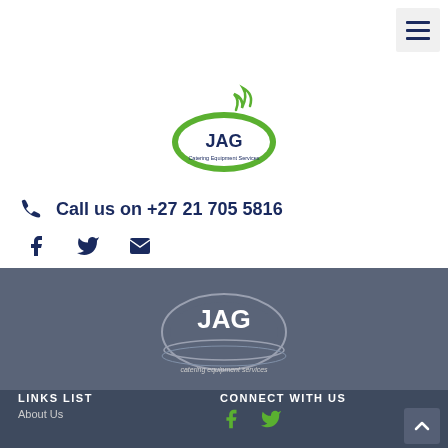[Figure (logo): JAG Catering Equipment Services logo - green oval with JAG text and steam/flame graphic, white background]
Call us on +27 21 705 5816
[Figure (infographic): Social media icons row: Facebook, Twitter, Email]
[Figure (logo): JAG Catering Equipment Services logo - white version on dark blue-grey background]
LINKS LIST
About Us
CONNECT WITH US
[Figure (infographic): Facebook and Twitter icons in green on dark background]